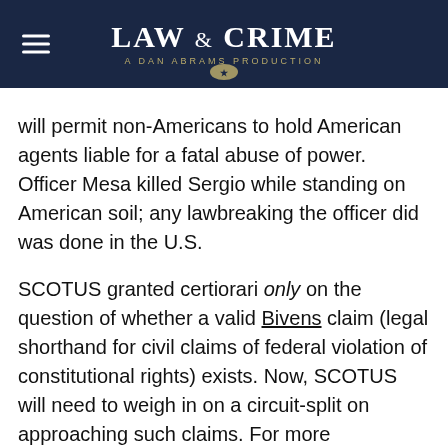LAW & CRIME — A DAN ABRAMS PRODUCTION
will permit non-Americans to hold American agents liable for a fatal abuse of power. Officer Mesa killed Sergio while standing on American soil; any lawbreaking the officer did was done in the U.S.
SCOTUS granted certiorari only on the question of whether a valid Bivens claim (legal shorthand for civil claims of federal violation of constitutional rights) exists. Now, SCOTUS will need to weigh in on a circuit-split on approaching such claims. For more background on how the different federal circuits have historically handled such claims, see